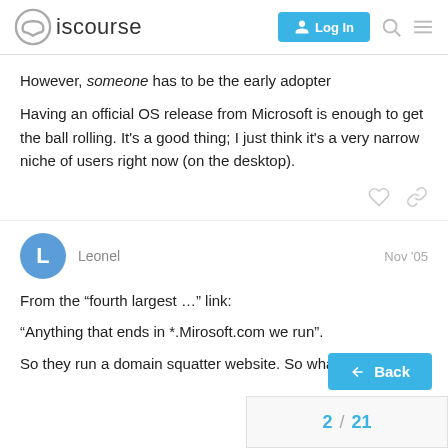Discourse - Log In
However, someone has to be the early adopter
Having an official OS release from Microsoft is enough to get the ball rolling. It's a good thing; I just think it's a very narrow niche of users right now (on the desktop).
Leonel  Nov '05
From the “fourth largest …” link:
“Anything that ends in *.Mirosoft.com we run”.
So they run a domain squatter website. So wha
2 / 21